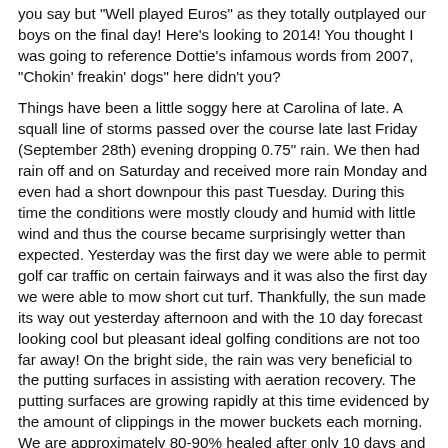you say but "Well played Euros" as they totally outplayed our boys on the final day!  Here's looking to 2014!  You thought I was going to reference Dottie's infamous words from 2007, "Chokin' freakin' dogs" here didn't you?
Things have been a little soggy here at Carolina of late.  A squall line of storms passed over the course late last Friday (September 28th) evening dropping 0.75" rain.  We then had rain off and on Saturday and received more rain Monday and even had a short downpour this past Tuesday.  During this time the conditions were mostly cloudy and humid with little wind and thus the course became surprisingly wetter than expected.  Yesterday was the first day we were able to permit golf car traffic on certain fairways and it was also the first day we were able to mow short cut turf.  Thankfully, the sun made its way out yesterday afternoon and with the 10 day forecast looking cool but pleasant ideal golfing conditions are not too far away!  On the bright side, the rain was very beneficial to the putting surfaces in assisting with aeration recovery.  The putting surfaces are growing rapidly at this time evidenced by the amount of clippings in the mower buckets each morning.  We are approximately 80-90% healed after only 10 days and it will be just a couple